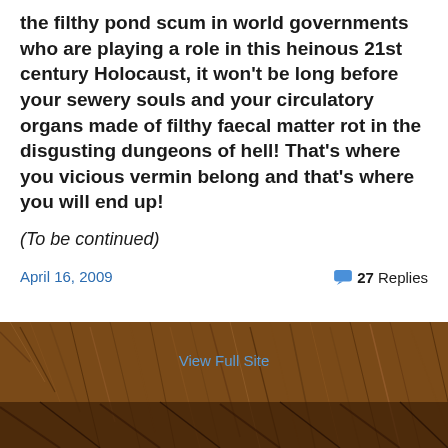the filthy pond scum in world governments who are playing a role in this heinous 21st century Holocaust, it won't be long before your sewery souls and your circulatory organs made of filthy faecal matter rot in the disgusting dungeons of hell! That's where you vicious vermin belong and that's where you will end up!
(To be continued)
April 16, 2009   27 Replies
View Full Site